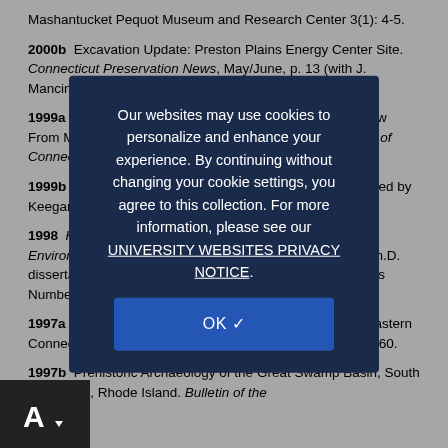Mashantucket Pequot Museum and Research Center 3(1): 4-5.
2000b  Excavation Update: Preston Plains Energy Center Site. Connecticut Preservation News, May/June, p. 13 (with J. Mancini).
1999a  The Middle Archaic Period in Connecticut:  The View From Mashantucket. Bulletin of the Archaeological Society of Connecticut 62: 101-123.
1999b  The Paleo Period. in Connecticut Archaeology, edited by Keegan and Keegan. pp. 6-14. Bibliopola Press, Storrs.
1998  Human Adaptation to the Changing Northeastern Environment at the End of the Pleistocene. Unpublished Ph.D. dissertation, University of Connecticut. University Microfilms Number 9906____. Ann Arbor.
1997a  The Late Paleoindian Hidden Creek Site in Southeastern Connecticut. Archaeology of Eastern North America 25:45-60.
1997b  Prehistoric Archaeology of the Great Swamp Basin, South Kingstown, Rhode Island. Bulletin of the
Our websites may use cookies to personalize and enhance your experience. By continuing without changing your cookie settings, you agree to this collection. For more information, please see our UNIVERSITY WEBSITES PRIVACY NOTICE.
OK